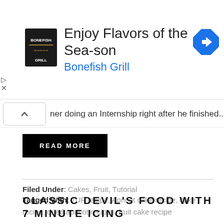[Figure (screenshot): Advertisement banner for Bonefish Grill with logo, text 'Enjoy Flavors of the Sea-son' and 'Bonefish Grill', and a navigation icon]
ner doing an Internship right after he finished...
READ MORE
Filed Under: Cakes, Fruit, Tutorial
Tagged With: 7UP recipe, Apricot cake recipe, cake recipe, dried apricot recipes, fruit cake recipe
CLASSIC DEVIL'S FOOD WITH 7 MINUTE ICING